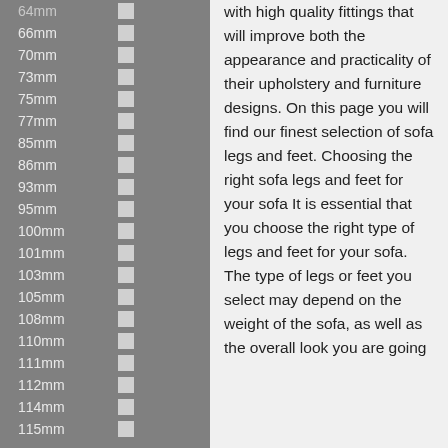64mm
66mm
70mm
73mm
75mm
77mm
85mm
86mm
93mm
95mm
100mm
101mm
103mm
105mm
108mm
110mm
111mm
112mm
114mm
115mm
with high quality fittings that will improve both the appearance and practicality of their upholstery and furniture designs. On this page you will find our finest selection of sofa legs and feet. Choosing the right sofa legs and feet for your sofa It is essential that you choose the right type of legs and feet for your sofa. The type of legs or feet you select may depend on the weight of the sofa, as well as the overall look you are going